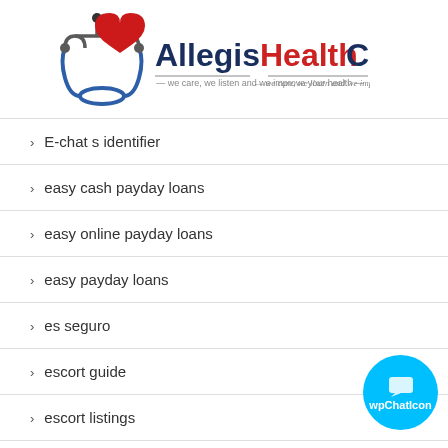[Figure (logo): Allegis HealthCare logo with stethoscope and red heart, tagline: we care, we listen and we improve your health]
E-chat s identifier
easy cash payday loans
easy online payday loans
easy payday loans
es seguro
escort guide
escort listings